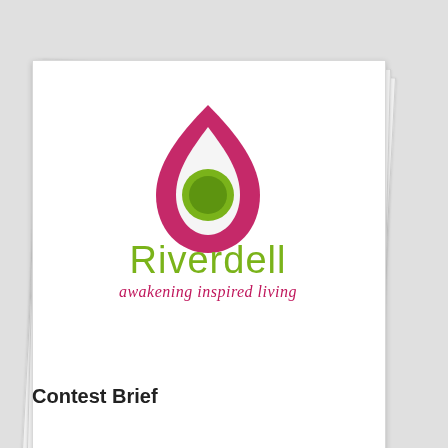[Figure (logo): Riverdell logo — a crimson/dark-pink teardrop shape with a lime-green circle inside, above the word 'Riverdell' in olive-green sans-serif, and the tagline 'awakening inspired living' in crimson italic script]
Contest Brief